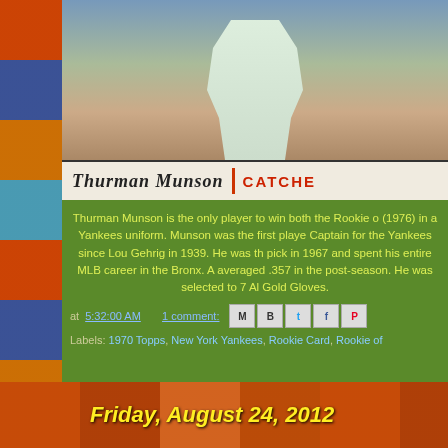[Figure (photo): Thurman Munson baseball card - 1970 Topps style. Top portion shows a photo of a baseball player in Yankees uniform. Below the photo is a nameplate reading 'Thurman Munson | CATCHER']
Thurman Munson is the only player to win both the Rookie of the Year and MVP (1976) in a Yankees uniform. Munson was the first player named Captain for the Yankees since Lou Gehrig in 1939. He was the #1 pick in 1967 and spent his entire MLB career in the Bronx. A lifetime .292 hitter, averaged .357 in the post-season. He was selected to 7 All-Star games and won 3 Gold Gloves.
at 5:32:00 AM    1 comment:
Labels: 1970 Topps, New York Yankees, Rookie Card, Rookie of
Friday, August 24, 2012